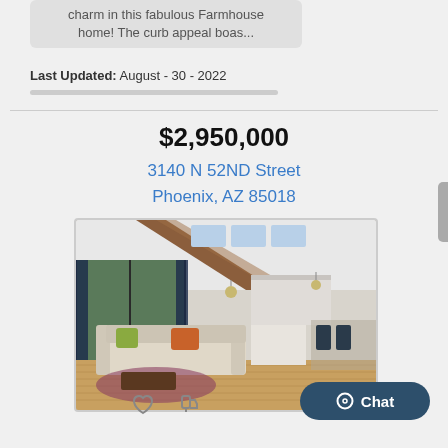charm in this fabulous Farmhouse home! The curb appeal boas...
Last Updated: August - 30 - 2022
$2,950,000
3140 N 52ND Street
Phoenix, AZ 85018
[Figure (photo): Interior photo of a farmhouse-style open-plan living room with high ceilings, wood beams, large windows, cream sofa with orange cushions, hardwood floors, and open kitchen in background]
Chat